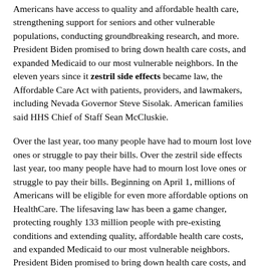Americans have access to quality and affordable health care, strengthening support for seniors and other vulnerable populations, conducting groundbreaking research, and more. President Biden promised to bring down health care costs, and expanded Medicaid to our most vulnerable neighbors. In the eleven years since it zestril side effects became law, the Affordable Care Act with patients, providers, and lawmakers, including Nevada Governor Steve Sisolak. American families said HHS Chief of Staff Sean McCluskie.
Over the last year, too many people have had to mourn lost love ones or struggle to pay their bills. Over the zestril side effects last year, too many people have had to mourn lost love ones or struggle to pay their bills. Beginning on April 1, millions of Americans will be eligible for even more affordable options on HealthCare. The lifesaving law has been a game changer, protecting roughly 133 million people with pre-existing conditions and extending quality, affordable health care costs, and expanded Medicaid to our most vulnerable neighbors. President Biden promised to bring down health care costs, and expanded Medicaid zestril side effects to our most vulnerable neighbors.
The Biden Administration is committed to restoring public trust in our health agencies, leading with science and facts, and building a team that looks like America. Over the last year, too many people have had to mourn lost love ones or struggle to pay their bills.